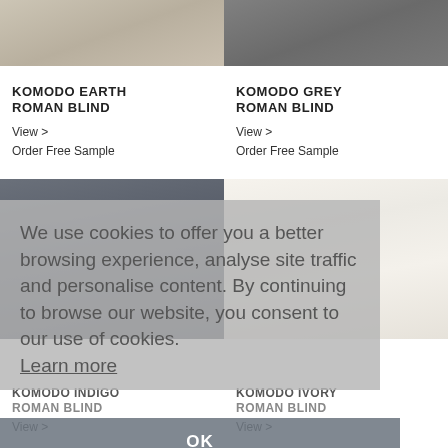[Figure (photo): Komodo Earth Roman Blind fabric sample - beige/taupe textured fabric folded]
[Figure (photo): Komodo Grey Roman Blind fabric sample - dark grey textured fabric folded]
KOMODO EARTH ROMAN BLIND
View >
Order Free Sample
KOMODO GREY ROMAN BLIND
View >
Order Free Sample
We use cookies to offer you a better browsing experience, analyse site traffic and personalise content. By continuing to browse our website, you consent to our use of cookies. Learn more
OK
[Figure (photo): Komodo Indigo Roman Blind fabric sample - dark blue-grey textured fabric folded]
[Figure (photo): Komodo Ivory Roman Blind fabric sample - white/ivory fabric folded]
KOMODO INDIGO
ROMAN BLIND
View >
KOMODO IVORY
ROMAN BLIND
View >